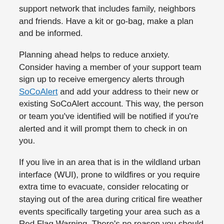support network that includes family, neighbors and friends. Have a kit or go-bag, make a plan and be informed.
Planning ahead helps to reduce anxiety. Consider having a member of your support team sign up to receive emergency alerts through SoCoAlert and add your address to their new or existing SoCoAlert account. This way, the person or team you've identified will be notified if you're alerted and it will prompt them to check in on you.
If you live in an area that is in the wildland urban interface (WUI), prone to wildfires or you require extra time to evacuate, consider relocating or staying out of the area during critical fire weather events specifically targeting your area such as a Red Flag Warning. There's no reason you should wait for an evacuation order or warning to leave if you don't feel safe or comfortable being in the area.
Learn more about how to prepare our seniors, including those with access and functional needs, to evacuate in the event of a wildfire by:
Reviewing the CAL FIRE Wildfire Readiness document...